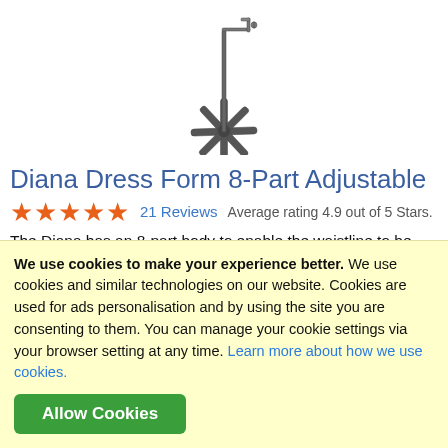[Figure (photo): Product photo of a Diana Dress Form showing a mannequin stand with a cross base and adjustable pole, viewed from above without the body form attached.]
Diana Dress Form 8-Part Adjustable
★★★★★  21 Reviews  Average rating 4.9 out of 5 Stars.
The Diana has an 8-part body to enable the waistline to be lengthened when a longer back measurement is required, also the neck size is adjustable.
We use cookies to make your experience better. We use cookies and similar technologies on our website. Cookies are used for ads personalisation and by using the site you are consenting to them. You can manage your cookie settings via your browser setting at any time. Learn more about how we use cookies.
Allow Cookies